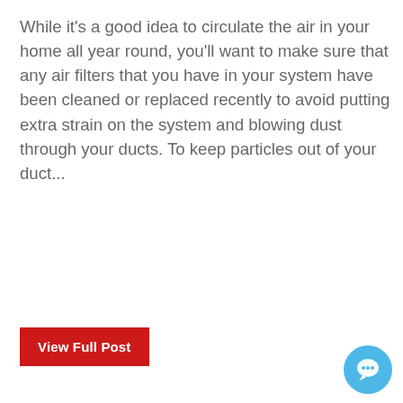While it's a good idea to circulate the air in your home all year round, you'll want to make sure that any air filters that you have in your system have been cleaned or replaced recently to avoid putting extra strain on the system and blowing dust through your ducts. To keep particles out of your duct...
View Full Post
From Our Blog
Posts By Category
All Categories
Avon  (2)